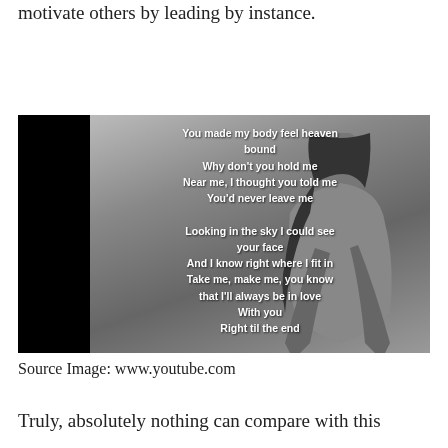motivate others by leading by instance.
[Figure (photo): Black and white photo of a woman with song lyrics overlaid in white text: 'You made my body feel heaven bound / Why don't you hold me / Near me, I thought you told me / You'd never leave me / Looking in the sky I could see your face / And I know right where I fit in / Take me, make me, you know that I'll always be in love / With you / Right til the end']
Source Image: www.youtube.com
Truly, absolutely nothing can compare with this